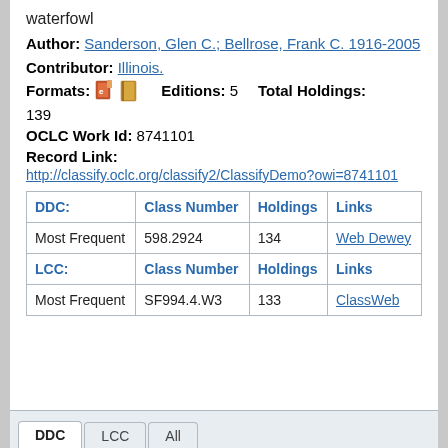waterfowl
Author: Sanderson, Glen C.; Bellrose, Frank C. 1916-2005
Contributor: Illinois.
Formats: [icons] Editions: 5 Total Holdings: 139
OCLC Work Id: 8741101
Record Link:
http://classify.oclc.org/classify2/ClassifyDemo?owi=8741101
| DDC: | Class Number | Holdings | Links |
| --- | --- | --- | --- |
| Most Frequent | 598.2924 | 134 | Web Dewey |
| LCC: | Class Number | Holdings | Links |
| Most Frequent | SF994.4.W3 | 133 | ClassWeb |